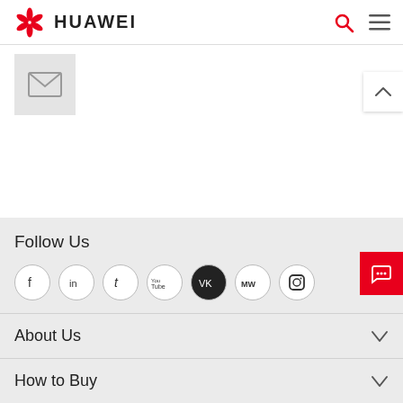HUAWEI
[Figure (illustration): Email/envelope icon in a light grey box]
Follow Us
[Figure (illustration): Social media icons: Facebook, LinkedIn, Twitter, YouTube, VK, MW, Instagram]
About Us
How to Buy